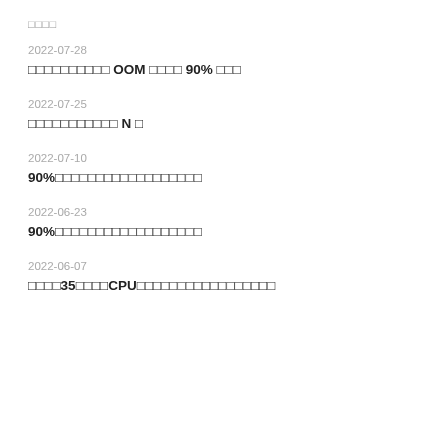□□□□
2022-07-28
□□□□□□□□□□ OOM □□□□ 90% □□□
2022-07-25
□□□□□□□□□□□ N □
2022-07-10
90%□□□□□□□□□□□□□□□□□□
2022-06-23
90%□□□□□□□□□□□□□□□□□□
2022-06-07
□□□□35□□□□CPU□□□□□□□□□□□□□□□□□